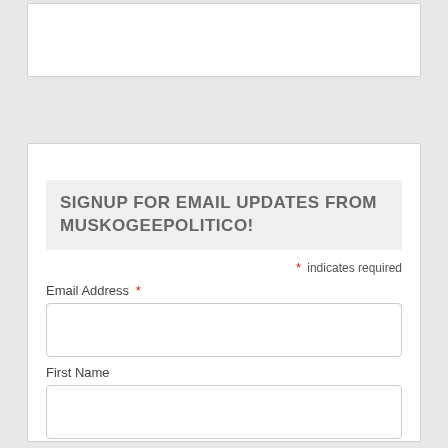SIGNUP FOR EMAIL UPDATES FROM MUSKOGEEPOLITICO!
* indicates required
Email Address *
First Name
Last Name
Subscribe